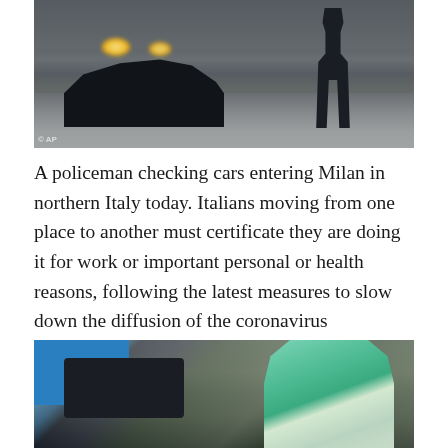[Figure (photo): A policeman standing in a road checking cars entering Milan, Italy. A dark car with headlights on is visible in the background at dusk. AP watermark in bottom-left corner.]
A policeman checking cars entering Milan in northern Italy today. Italians moving from one place to another must certificate they are doing it for work or important personal or health reasons, following the latest measures to slow down the diffusion of the coronavirus
[Figure (photo): A healthcare worker in PPE (green protective suit and cap) leaning into a car window to administer a coronavirus test to a man seated in the car with his mouth open. A blue panel is visible on the left.]